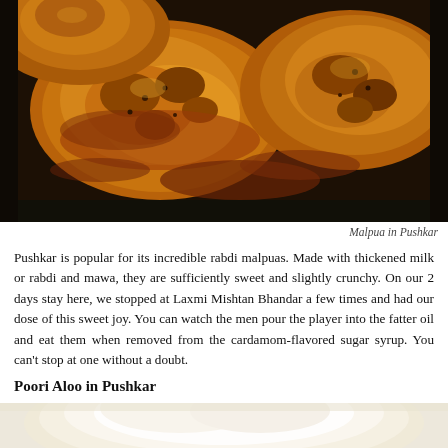[Figure (photo): Close-up photo of Malpua, a sweet fried Indian dessert with a golden-brown caramelized surface, served in a dark pan with sauce.]
Malpua in Pushkar
Pushkar is popular for its incredible rabdi malpuas. Made with thickened milk or rabdi and mawa, they are sufficiently sweet and slightly crunchy. On our 2 days stay here, we stopped at Laxmi Mishtan Bhandar a few times and had our dose of this sweet joy. You can watch the men pour the player into the fatter oil and eat them when removed from the cardamom-flavored sugar syrup. You can't stop at one without a doubt.
Poori Aloo in Pushkar
[Figure (photo): Partial photo of Poori Aloo dish, showing a white/cream colored dish at the bottom of the page.]